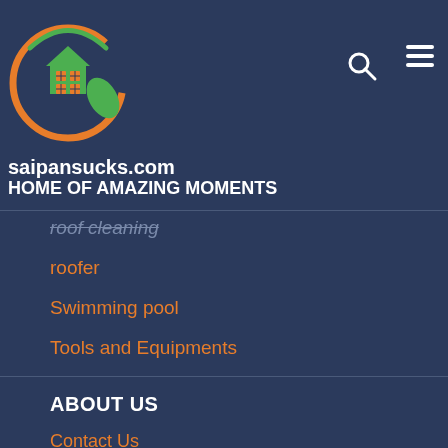[Figure (logo): Circular logo with orange crescent, green house icon, and green leaf on dark navy background]
saipansucks.com
HOME OF AMAZING MOMENTS
roof cleaning (partially visible, struck through)
roofer
Swimming pool
Tools and Equipments
Vegetable Garden
ABOUT US
Contact Us
Advertise Here
Disclosure Policy